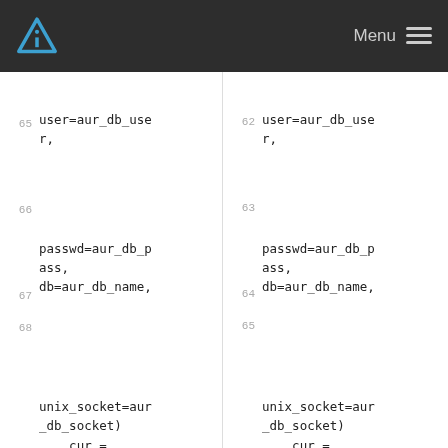Menu
Left pane code lines 65-69 with removed section starting at 69:
user=aur_db_user,
(65)
passwd=aur_db_pass,
db=aur_db_name,
(66)
unix_socket=aur_db_socket)
    cur = db.cursor()
(67)(68)(69) - cur.execute("SELECT COUNT(*) FROM
Right pane code lines 62-65:
user=aur_db_user,
(62)
passwd=aur_db_pass,
db=aur_db_name,
(63)
unix_socket=aur_db_socket)
    cur = db.cursor()
(64)(65)